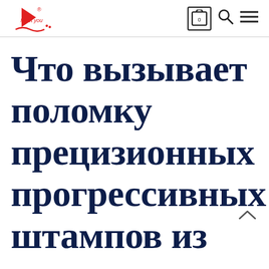Meet you [logo] | cart | search | menu
Что вызывает поломку прецизионных прогрессивных штампов из цементированн